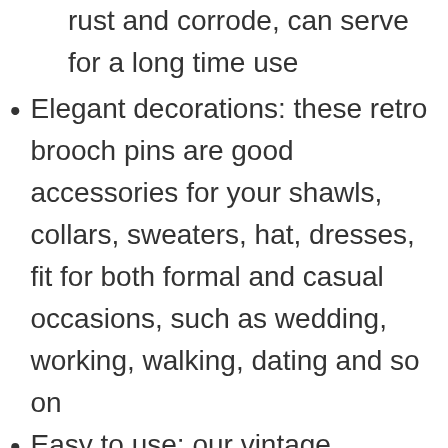rust and corrode, can serve for a long time use
Elegant decorations: these retro brooch pins are good accessories for your shawls, collars, sweaters, hat, dresses, fit for both formal and casual occasions, such as wedding, working, walking, dating and so on
Easy to use: our vintage sweater clips designed with small alloy tooth, not easy to slip off and can clip tightly to your clothes, which is convenient for you to use and remove, a fine item for a delicate